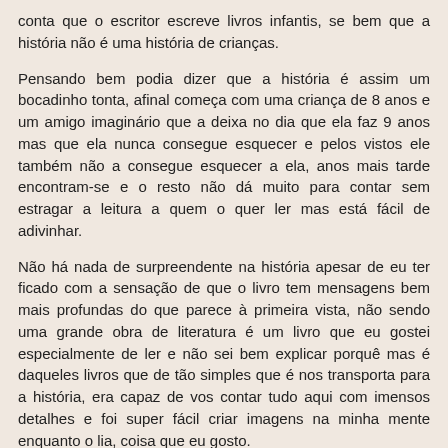conta que o escritor escreve livros infantis, se bem que a história não é uma história de crianças.
Pensando bem podia dizer que a história é assim um bocadinho tonta, afinal começa com uma criança de 8 anos e um amigo imaginário que a deixa no dia que ela faz 9 anos mas que ela nunca consegue esquecer e pelos vistos ele também não a consegue esquecer a ela, anos mais tarde encontram-se e o resto não dá muito para contar sem estragar a leitura a quem o quer ler mas está fácil de adivinhar.
Não há nada de surpreendente na história apesar de eu ter ficado com a sensação de que o livro tem mensagens bem mais profundas do que parece à primeira vista, não sendo uma grande obra de literatura é um livro que eu gostei especialmente de ler e não sei bem explicar porquê mas é daqueles livros que de tão simples que é nos transporta para a história, era capaz de vos contar tudo aqui com imensos detalhes e foi super fácil criar imagens na minha mente enquanto o lia, coisa que eu gosto.